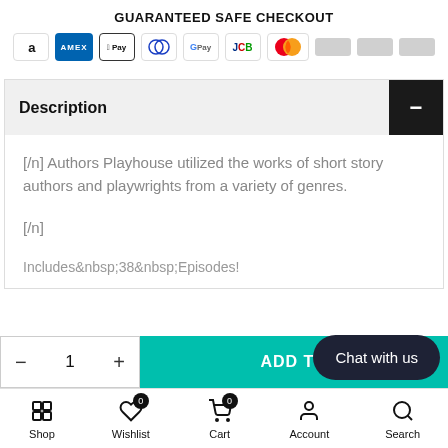GUARANTEED SAFE CHECKOUT
[Figure (illustration): Payment method icons: Amazon, American Express, Apple Pay, Diners Club, Google Pay, JCB, Mastercard, and three generic card placeholders]
Description
[/n] Authors Playhouse utilized the works of short story authors and playwrights from a variety of genres.
[/n]
Includes&amp;nbsp;38&amp;nbsp;Episodes!
[Figure (screenshot): Bottom bar with quantity selector showing minus, 1, plus and ADD TO cart button in teal]
[Figure (illustration): Chat with us button in dark rounded pill shape]
Shop  Wishlist  Cart  Account  Search